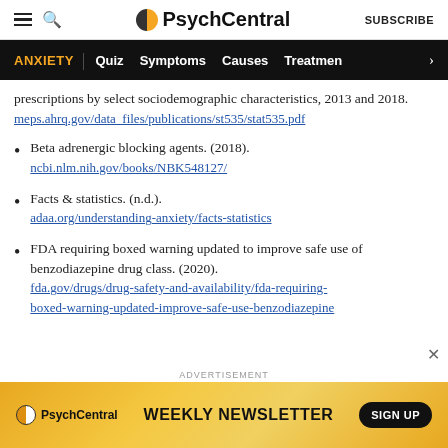PsychCentral — SUBSCRIBE
ANXIETY | Quiz Symptoms Causes Treatment
prescriptions by select sociodemographic characteristics, 2013 and 2018. meps.ahrq.gov/data_files/publications/st535/stat535.pdf
Beta adrenergic blocking agents. (2018). ncbi.nlm.nih.gov/books/NBK548127/
Facts & statistics. (n.d.). adaa.org/understanding-anxiety/facts-statistics
FDA requiring boxed warning updated to improve safe use of benzodiazepine drug class. (2020). fda.gov/drugs/drug-safety-and-availability/fda-requiring-boxed-warning-updated-improve-safe-use-benzodiazepine
[Figure (infographic): Advertisement banner for PsychCentral Weekly Newsletter with SIGN UP button]